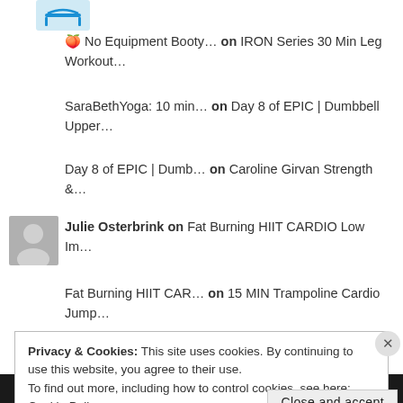[Figure (photo): Trampoline thumbnail image at the top]
🍑 No Equipment Booty… on IRON Series 30 Min Leg Workout…
SaraBethYoga: 10 min… on Day 8 of EPIC | Dumbbell Upper…
Day 8 of EPIC | Dumb… on Caroline Girvan Strength &…
[Figure (photo): Grey avatar silhouette for Julie Osterbrink]
Julie Osterbrink on Fat Burning HIIT CARDIO Low Im…
Fat Burning HIIT CAR… on 15 MIN Trampoline Cardio Jump…
Privacy & Cookies: This site uses cookies. By continuing to use this website, you agree to their use. To find out more, including how to control cookies, see here: Cookie Policy
Close and accept